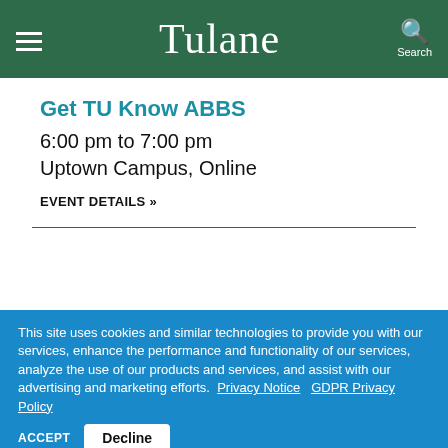Tulane
Get TU Know ABBS
6:00 pm to 7:00 pm
Uptown Campus, Online
EVENT DETAILS »
This site uses cookies and similar technologies to provide you with our services, enhance the performance and functionality of our services, analyze the use of our products and services, and assist with our advertising and marketing efforts.  Privacy Notice   GDPR Privacy Policy
ACCEPT   Decline